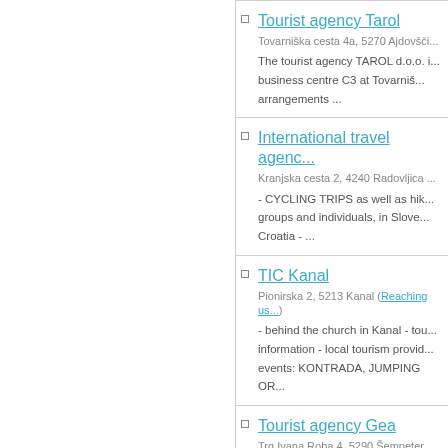Tourist agency Tarol
Tovarniška cesta 4a, 5270 Ajdovšči...
The tourist agency TAROL d.o.o. i... business centre C3 at Tovarniš... arrangements ...
International travel agenc...
Kranjska cesta 2, 4240 Radovljica ...
- CYCLING TRIPS as well as hik... groups and individuals, in Slove... Croatia - ...
TIC Kanal
Pionirska 2, 5213 Kanal (Reaching us...)
- behind the church in Kanal - tou... information - local tourism provid... events: KONTRADA, JUMPING OR...
Tourist agency Gea
Trg Ivana Roba 4, 5290 Šempeter ...
With you for over 20 years. The n... IN ONE PLACE« - holidays and trip...